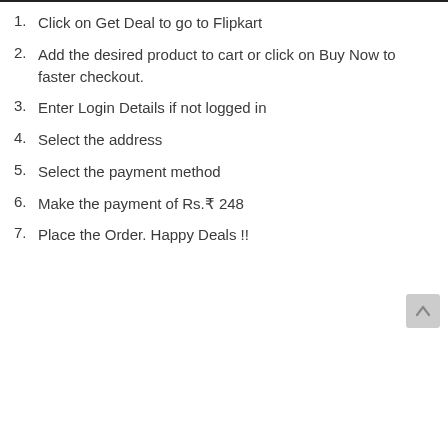1. Click on Get Deal to go to Flipkart
2. Add the desired product to cart or click on Buy Now to faster checkout.
3. Enter Login Details if not logged in
4. Select the address
5. Select the payment method
6. Make the payment of Rs.₹ 248
7. Place the Order. Happy Deals !!